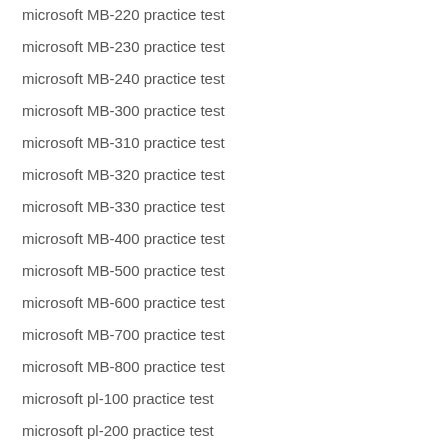microsoft MB-220 practice test
microsoft MB-230 practice test
microsoft MB-240 practice test
microsoft MB-300 practice test
microsoft MB-310 practice test
microsoft MB-320 practice test
microsoft MB-330 practice test
microsoft MB-400 practice test
microsoft MB-500 practice test
microsoft MB-600 practice test
microsoft MB-700 practice test
microsoft MB-800 practice test
microsoft pl-100 practice test
microsoft pl-200 practice test